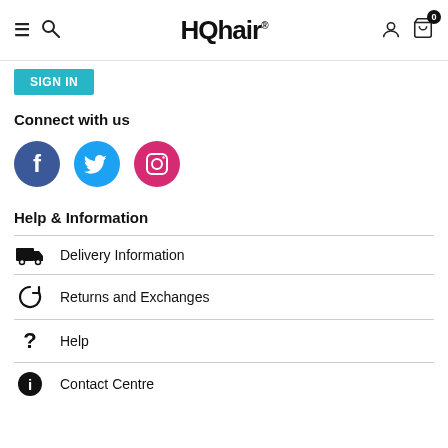HQhair
Connect with us
[Figure (illustration): Three social media icons: Facebook (blue circle with 'f'), Twitter (cyan circle with bird), Instagram (pink circle with camera outline)]
Help & Information
Delivery Information
Returns and Exchanges
Help
Contact Centre